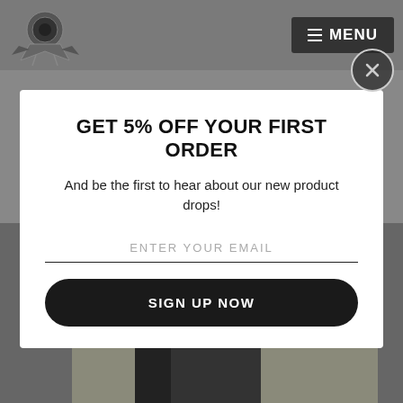[Figure (logo): Website logo with circular emblem and stylized wings/shield design]
≡ MENU
[Figure (illustration): Close (X) button circle in top right corner]
GET 5% OFF YOUR FIRST ORDER
And be the first to hear about our new product drops!
ENTER YOUR EMAIL
SIGN UP NOW
Powered by omnisend